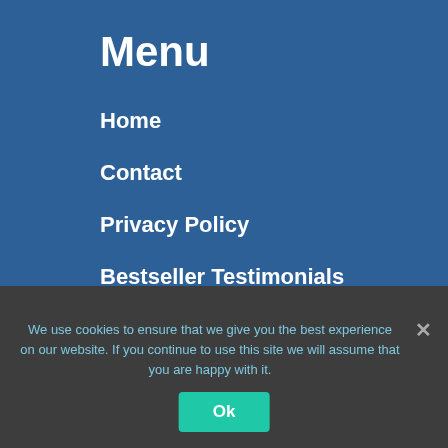Menu
Home
Contact
Privacy Policy
Bestseller Testimonials
Elite Journals & Planners
Benefits of a Podcast
How To Write A Book Fast
We use cookies to ensure that we give you the best experience on our website. If you continue to use this site we will assume that you are happy with it.
Ok